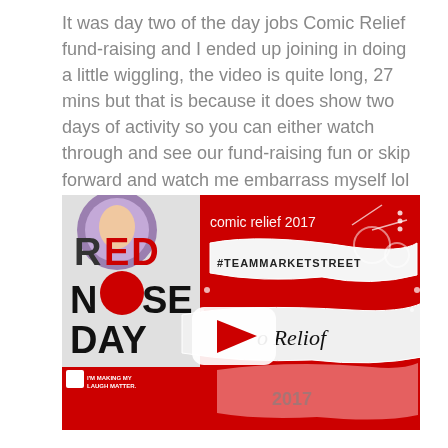It was day two of the day jobs Comic Relief fund-raising and I ended up joining in doing a little wiggling, the video is quite long, 27 mins but that is because it does show two days of activity so you can either watch through and see our fund-raising fun or skip forward and watch me embarrass myself lol
[Figure (screenshot): YouTube video thumbnail for Comic Relief 2017 / Nose Day video with #TEAMMARKETSTREET hashtag and red Comic Relief branding with YouTube play button]